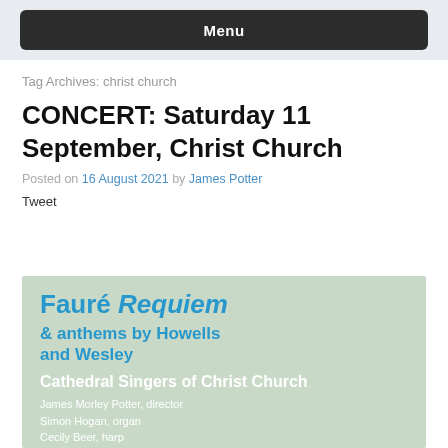Menu
Tag Archives: christ church
CONCERT: Saturday 11 September, Christ Church
Posted on 16 August 2021 by James Potter
Tweet
[Figure (illustration): Concert poster with sage green background showing 'Fauré Requiem & anthems by Howells and Wesley' in blue bold text, 'Cathedral Singers of Christ Church' in white bold text, and credits: James Morley Potter, director; Simon Hogan, organ; Cecily Beer, harp]